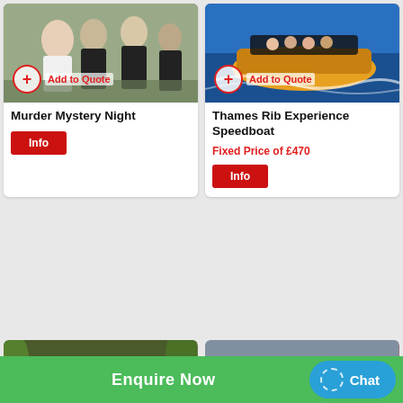[Figure (photo): Group of people including a woman in white top and others in dark uniforms, murder mystery event]
[Figure (photo): Speedboat on the Thames with passengers, high speed water experience]
Murder Mystery Night
Info
Thames Rib Experience Speedboat
Fixed Price of £470
Info
[Figure (photo): Military/combat experience activity with people in camouflage gear]
[Figure (photo): Group of people doing bubble football activity]
Enquire Now
Chat